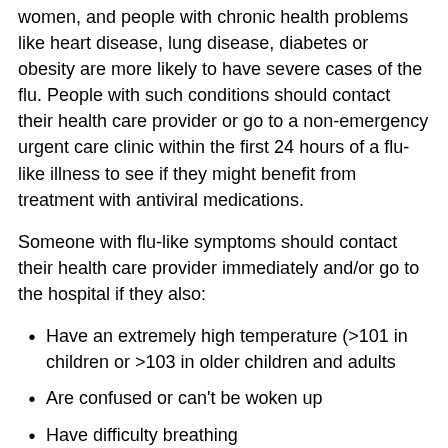women, and people with chronic health problems like heart disease, lung disease, diabetes or obesity are more likely to have severe cases of the flu. People with such conditions should contact their health care provider or go to a non-emergency urgent care clinic within the first 24 hours of a flu-like illness to see if they might benefit from treatment with antiviral medications.
Someone with flu-like symptoms should contact their health care provider immediately and/or go to the hospital if they also:
Have an extremely high temperature (>101 in children or >103 in older children and adults
Are confused or can’t be woken up
Have difficulty breathing
Feel pain or pressure in their chest or abdomen
Have blue lips
Are not drinking enough fluids or keep vomiting them up
For children: Have any fever (>100) and are younger